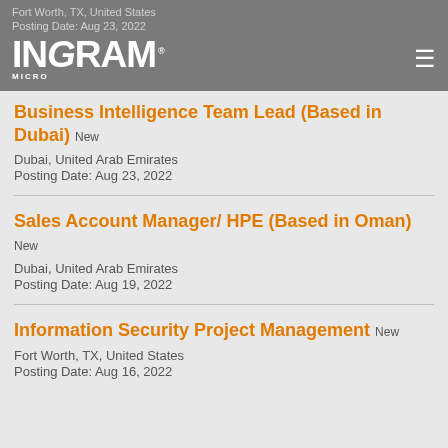Fort Worth, TX, United States
Posting Date: Aug 23, 2022
INGRAM MICRO
Business Intelligence Team Lead (Based in Dubai) New
Dubai, United Arab Emirates
Posting Date: Aug 23, 2022
Sales Account Manager/ HPE (Based in Oman) New
Dubai, United Arab Emirates
Posting Date: Aug 19, 2022
Information Security Project Management New
Fort Worth, TX, United States
Posting Date: Aug 16, 2022